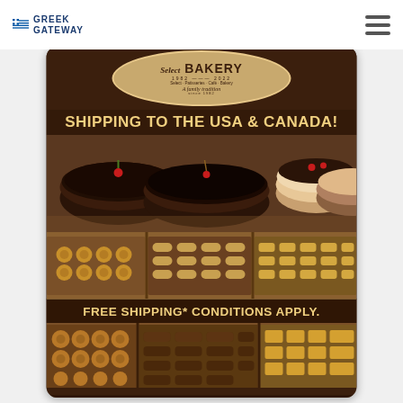GREEK GATEWAY
[Figure (photo): Select Bakery advertisement showing cakes, pastries, and sweets with text 'SHIPPING TO THE USA & CANADA!' and 'FREE SHIPPING* CONDITIONS APPLY.' with Greek, US, and Canadian flag icons at the bottom]
SHIPPING TO THE USA & CANADA!
FREE SHIPPING* CONDITIONS APPLY.